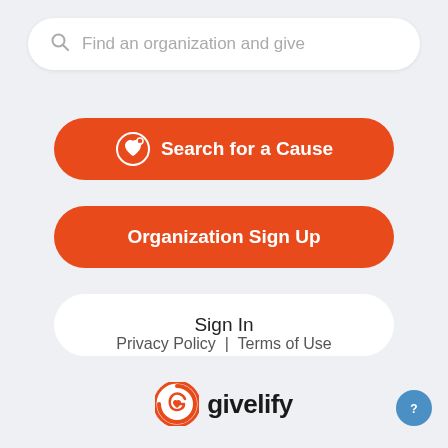[Figure (screenshot): Search bar with placeholder text 'Find an organization and give' and a magnifying glass icon]
[Figure (infographic): Orange rounded button with heart icon and text 'Search for a Cause']
[Figure (infographic): Orange rounded button with text 'Organization Sign Up']
[Figure (infographic): White rounded button with text 'Sign In']
Privacy Policy  |  Terms of Use
[Figure (logo): Givelify logo with orange G icon and text 'givelify']